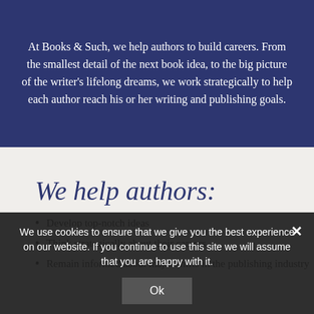At Books & Such, we help authors to build careers. From the smallest detail of the next book idea, to the big picture of the writer's lifelong dreams, we work strategically to help each author reach his or her writing and publishing goals.
We help authors:
Develop top-notch ideas
Think strategically about their careers
Remain informed about major shifts in the publishing industry
We use cookies to ensure that we give you the best experience on our website. If you continue to use this site we will assume that you are happy with it.